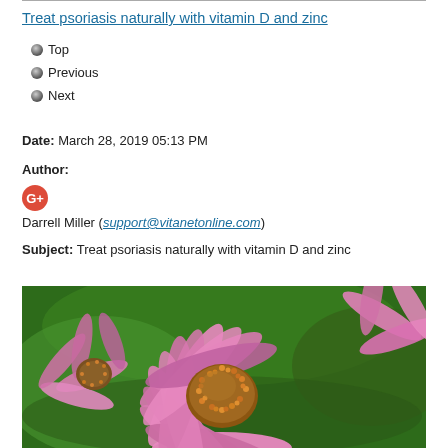Treat psoriasis naturally with vitamin D and zinc
Top
Previous
Next
Date: March 28, 2019 05:13 PM
Author:
[Figure (logo): Google+ icon (red circle with white G+)]
Darrell Miller (support@vitanetonline.com)
Subject: Treat psoriasis naturally with vitamin D and zinc
[Figure (photo): Close-up photograph of pink echinacea (coneflower) flowers with orange spiky centers, against a green bokeh background]